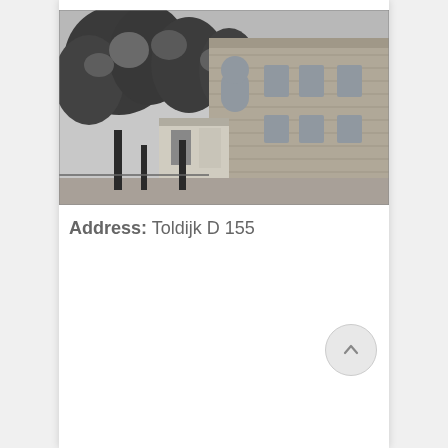[Figure (photo): Black and white photograph of a brick building with trees in front, appearing to be a historical institutional or residential building. A small structure or booth is visible near the entrance.]
Address:  Toldijk D 155